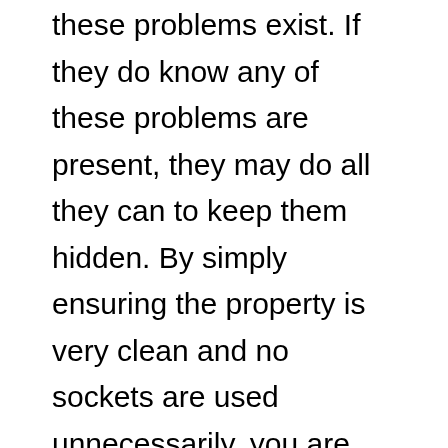these problems exist. If they do know any of these problems are present, they may do all they can to keep them hidden. By simply ensuring the property is very clean and no sockets are used unnecessarily, you are not able to see the problems are there. In order to find out whether these issues are present, you will need a professional home inspection; but you can also speak to community members. They will be happy to tell you about any historical issues that have occurred in the area. Usually, problems like pests, water damage and mold don't occur in just one home.
At the end of the day, you should never purchase a property that you haven't had inspected professionally. The information above, therefore, is not designed to help you decide whether or not you